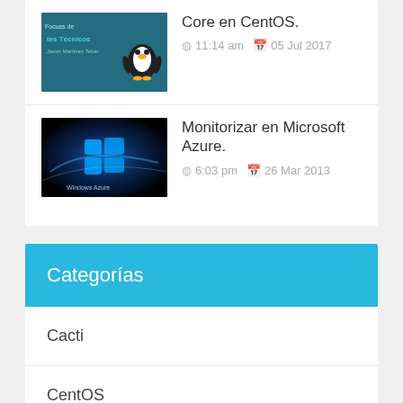[Figure (screenshot): Thumbnail image with teal background showing Linux/technical blog branding with Tux penguin]
Core en CentOS.
11:14 am  05 Jul 2017
[Figure (screenshot): Thumbnail image showing Windows Azure branding with blue glowing Windows logo on black background]
Monitorizar en Microsoft Azure.
6:03 pm  26 Mar 2013
Categorías
Cacti
CentOS
Cloud